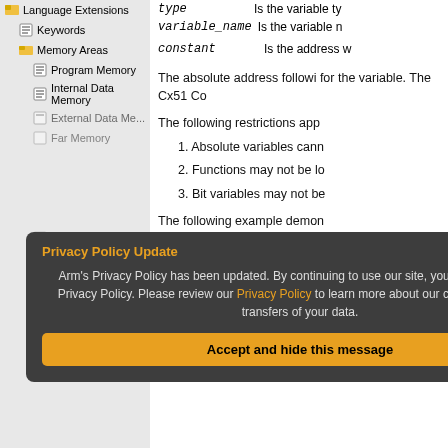Language Extensions
Keywords
Memory Areas
Program Memory
Internal Data Memory
External Data Memory
Far Memory
Large Memory
Memory Areas
Code
Sfr16
type   Is the variable type
variable_name  Is the variable n
constant   Is the address w
The absolute address following for the variable. The Cx51 Co
The following restrictions app
1. Absolute variables cann
2. Functions may not be lo
3. Bit variables may not be
The following example demon
[Figure (screenshot): Privacy Policy Update popup overlay with dark background, orange title, body text about Arm's Privacy Policy, orange Privacy Policy link, and orange Accept and hide this message button]
[Figure (screenshot): Important information popup with dark background, orange title, body text about cookies, orange cookies link, Don't show this message again button, and Change Settings link]
struct link
    {
    struct link idata *nex
    char code *test;
    };

struct link list idata
char xdata text[256]